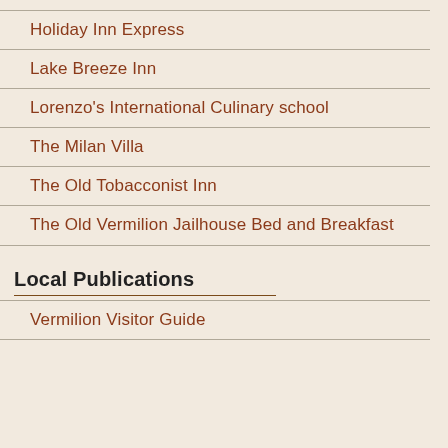Holiday Inn Express
Lake Breeze Inn
Lorenzo's International Culinary school
The Milan Villa
The Old Tobacconist Inn
The Old Vermilion Jailhouse Bed and Breakfast
Local Publications
Vermilion Visitor Guide